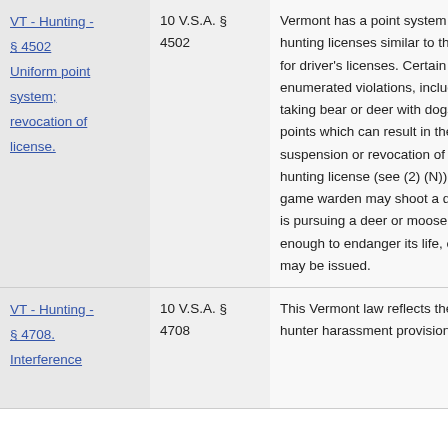| Name | Citation | Description |
| --- | --- | --- |
| VT - Hunting - § 4502 Uniform point system; revocation of license. | 10 V.S.A. § 4502 | Vermont has a point system for hunting licenses similar to that used for driver's licenses. Certain enumerated violations, including taking bear or deer with dogs, earn points which can result in the suspension or revocation of a hunting license (see (2)(N)). A game warden may shoot a dog who is pursuing a deer or moose close enough to endanger its life, or a fine may be issued. |
| VT - Hunting - § 4708. Interference | 10 V.S.A. § 4708 | This Vermont law reflects the state's hunter harassment provision. The |